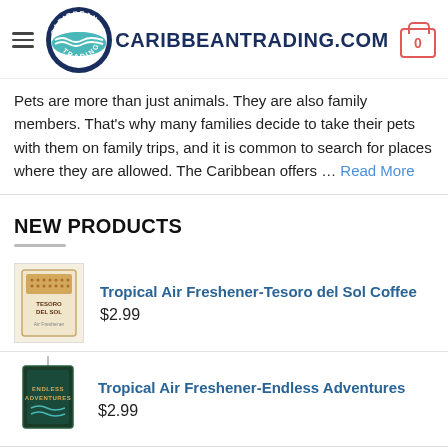[Figure (logo): CaribbeanTrading.com logo with circular badge and hamburger menu and cart icon]
Pets are more than just animals. They are also family members. That's why many families decide to take their pets with them on family trips, and it is common to search for places where they are allowed. The Caribbean offers ... Read More
NEW PRODUCTS
Tropical Air Freshener-Tesoro del Sol Coffee
$2.99
Tropical Air Freshener-Endless Adventures
$2.99
Tropical Air Freshener-Ship Happens